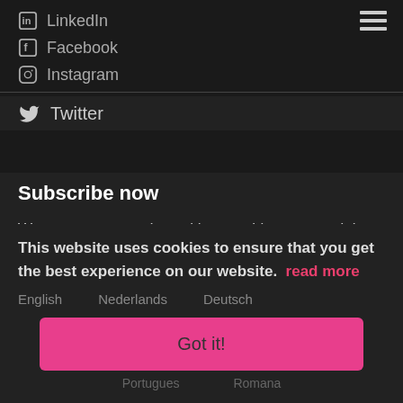LinkedIn
Facebook
Instagram
Twitter
Subscribe now
Want to stay up to date with everything we are doing, subscribe below:
Enter your email address
Subscribe
This website uses cookies to ensure that you get the best experience on our website. read more
English  Nederlands  Deutsch
Got it!
Portugues  Romana